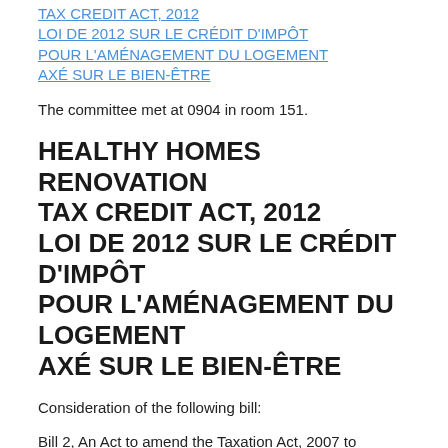TAX CREDIT ACT, 2012 LOI DE 2012 SUR LE CRÉDIT D'IMPÔT POUR L'AMÉNAGEMENT DU LOGEMENT AXÉ SUR LE BIEN-ÊTRE
The committee met at 0904 in room 151.
HEALTHY HOMES RENOVATION TAX CREDIT ACT, 2012 LOI DE 2012 SUR LE CRÉDIT D'IMPÔT POUR L'AMÉNAGEMENT DU LOGEMENT AXÉ SUR LE BIEN-ÊTRE
Consideration of the following bill:
Bill 2, An Act to amend the Taxation Act, 2007 to implement a healthy homes renovation tax credit / Projet de loi 2, Loi modifiant la Loi de 2007 sur les impôts en vue de mettre en oeuvre le crédit d'impôt pour l'aménagement